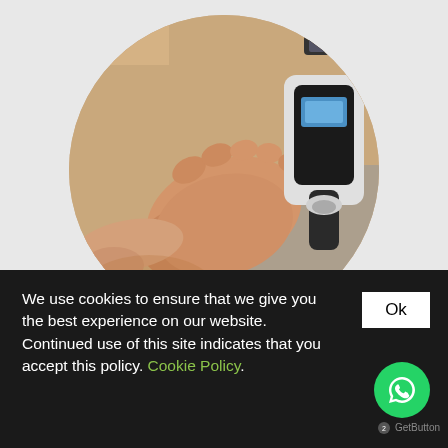[Figure (photo): Circular cropped photo showing a person receiving ultrasound or shockwave therapy on their foot/heel. A hand holds a medical device against the foot. The device appears to be a handheld therapy gun with a small screen.]
We use cookies to ensure that we give you the best experience on our website. Continued use of this site indicates that you accept this policy. Cookie Policy.